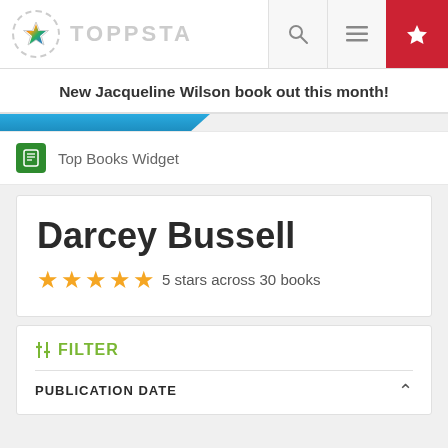TOPPSTA (navigation bar with logo, search, menu, and star icons)
New Jacqueline Wilson book out this month!
Top Books Widget
Darcey Bussell
5 stars across 30 books
FILTER
PUBLICATION DATE